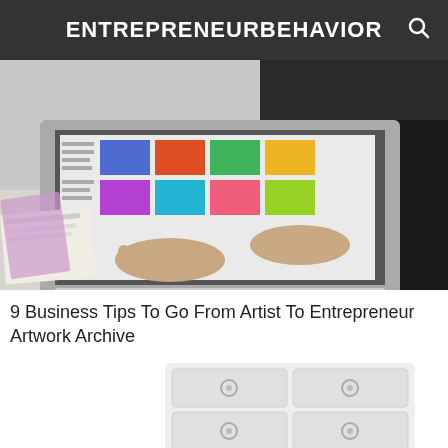ENTREPRENEURBEHAVIOR
[Figure (photo): Overhead view of person typing on a laptop with colorful images on screen, papers on desk]
9 Business Tips To Go From Artist To Entrepreneur Artwork Archive
[Figure (photo): White dresser/chest of drawers with round knobs, slightly blurred/faded appearance]